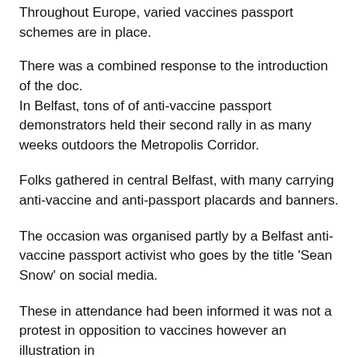Throughout Europe, varied vaccines passport schemes are in place.
There was a combined response to the introduction of the doc.
In Belfast, tons of of anti-vaccine passport demonstrators held their second rally in as many weeks outdoors the Metropolis Corridor.
Folks gathered in central Belfast, with many carrying anti-vaccine and anti-passport placards and banners.
The occasion was organised partly by a Belfast anti-vaccine passport activist who goes by the title 'Sean Snow' on social media.
These in attendance had been informed it was not a protest in opposition to vaccines however an illustration in